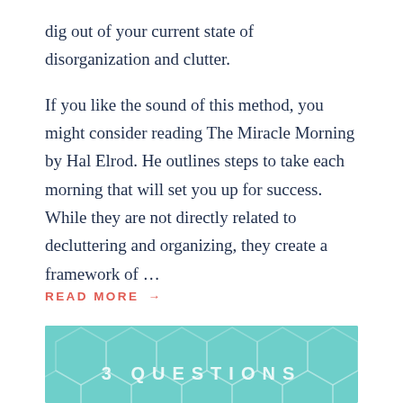dig out of your current state of disorganization and clutter.
If you like the sound of this method, you might consider reading The Miracle Morning by Hal Elrod. He outlines steps to take each morning that will set you up for success. While they are not directly related to decluttering and organizing, they create a framework of …
READ MORE →
[Figure (illustration): Teal/turquoise background with hexagonal pattern and text '3 QUESTIONS' in large white letters]